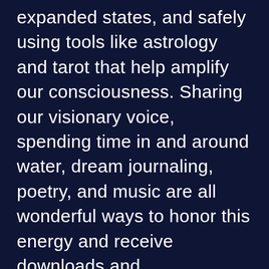expanded states, and safely using tools like astrology and tarot that help amplify our consciousness. Sharing our visionary voice, spending time in and around water, dream journaling, poetry, and music are all wonderful ways to honor this energy and receive downloads and transmissions of healing messages from the beyond and from our higher selves. Greater empathy, sensitivity, as well as compassionate listening and speaking are all a part of this astrological alignment. The challenges of confused thinking, foggy memory, and